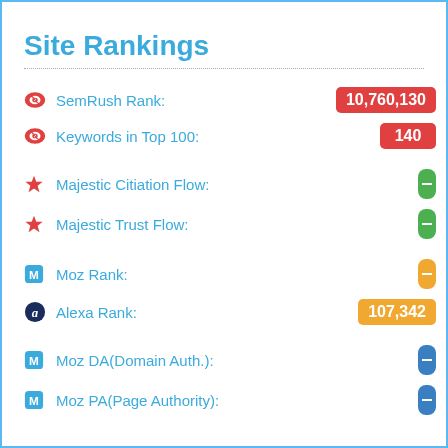Site Rankings
SemRush Rank: 10,760,130
Keywords in Top 100: 140
Majestic Citiation Flow:
Majestic Trust Flow:
Moz Rank:
Alexa Rank: 107,342
Moz DA(Domain Auth.):
Moz PA(Page Authority):